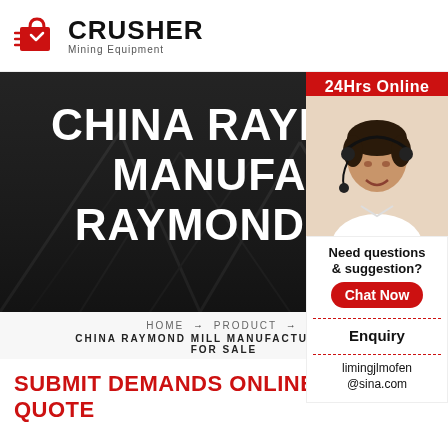[Figure (logo): CRUSHER Mining Equipment logo with red shopping bag icon and bold black text]
[Figure (infographic): Dark industrial hero banner with overlay text: CHINA RAYMOND MILL MANUFACTURER RAYMOND MILL FOR SALE]
[Figure (photo): Sidebar with red header '24Hrs Online', photo of woman with headset, and support info]
HOME → PRODUCT →
CHINA RAYMOND MILL MANUFACTURER RAYMOND MILL FOR SALE
SUBMIT DEMANDS ONLINE AND GET QUOTE